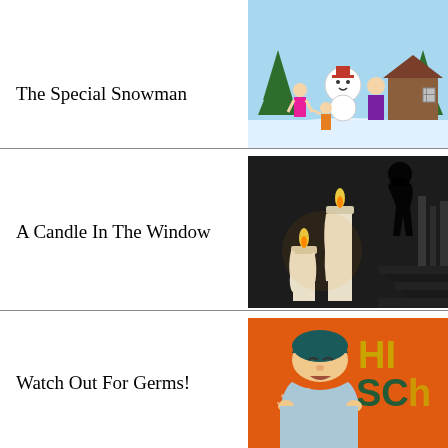The Special Snowman
[Figure (illustration): Children and a snowman in a winter scene with a cabin and snow-covered trees]
A Candle In The Window
[Figure (photo): Lit candles with a dark silhouette figure in background on stairs]
Watch Out For Germs!
[Figure (illustration): Cartoon illustration of a sick person sneezing on an orange background with text]